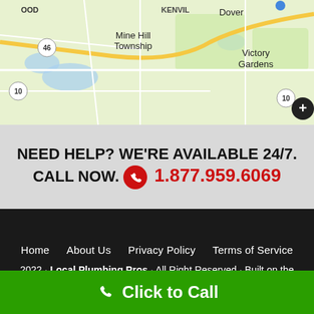[Figure (map): Google Maps showing Mine Hill Township, Kenvil, Dover, Victory Gardens area in New Jersey with route 46, 10 marked]
NEED HELP? WE'RE AVAILABLE 24/7. CALL NOW. 1.877.959.6069
Home · About Us · Privacy Policy · Terms of Service · 2022 · Local Plumbing Pros · All Right Reserved · Built on the Genesis Framework
Click to Call